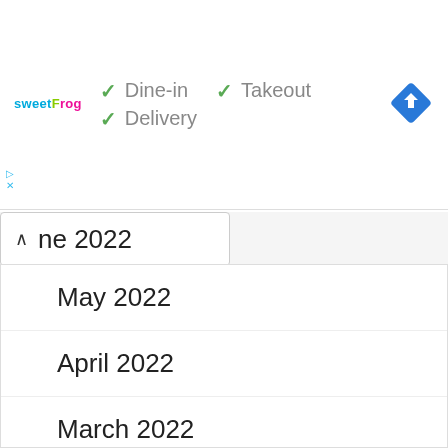[Figure (logo): sweetFrog logo in pink/green/blue text]
✓ Dine-in  ✓ Takeout
✓ Delivery
[Figure (infographic): Blue diamond navigation/directions icon]
ne 2022
May 2022
April 2022
March 2022
February 2022
January 2022
December 2021
November 2021
October 2021
September 2021
August 2021
July 2021